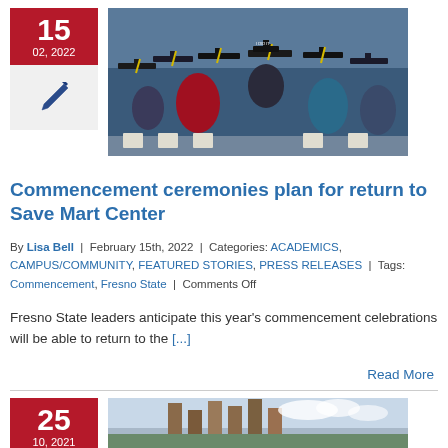[Figure (photo): Date badge showing 15, 02, 2022 in red with pen icon below, next to a photo of graduation ceremony with students in caps and gowns]
Commencement ceremonies plan for return to Save Mart Center
By Lisa Bell | February 15th, 2022 | Categories: ACADEMICS, CAMPUS/COMMUNITY, FEATURED STORIES, PRESS RELEASES | Tags: Commencement, Fresno State | Comments Off
Fresno State leaders anticipate this year's commencement celebrations will be able to return to the [...]
Read More
[Figure (photo): Date badge showing 25, 10, 2021 in red next to a photo of a campus building sculpture]